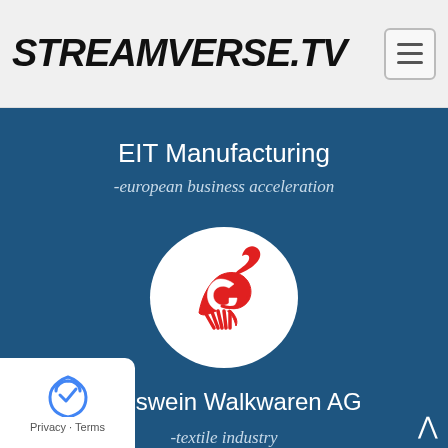STREAMVERSE.TV
EIT Manufacturing
-european business acceleration
[Figure (logo): Giesswein Walkwaren AG logo: red stylized eagle/bird head on white circle background]
Giesswein Walkwaren AG
-textile industry